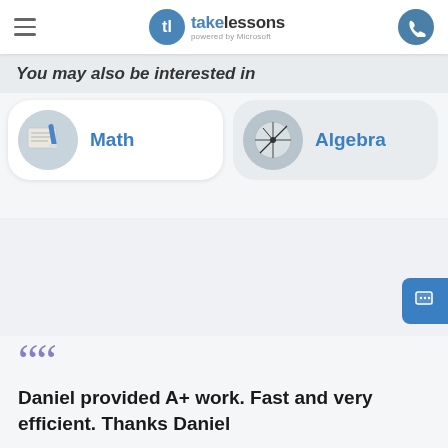[Figure (screenshot): TakeLessons powered by Microsoft navigation bar with hamburger menu, logo, and phone icon]
You may also be interested in
[Figure (infographic): Math subject card with circular image of math worksheet and pencil]
[Figure (infographic): Algebra subject card with circular image of algebra diagrams]
Daniel provided A+ work. Fast and very efficient. Thanks Daniel
Shonda (Biology lessons with Daniel F.)